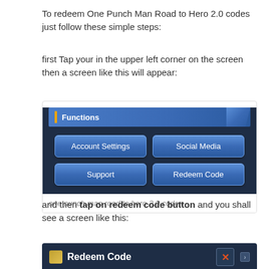To redeem One Punch Man Road to Hero 2.0 codes just follow these simple steps:
first Tap your in the upper left corner on the screen then a screen like this will appear:
[Figure (screenshot): Game UI screenshot showing a Functions menu with four buttons: Account Settings, Social Media, Support, Redeem Code on a dark blue background]
one punch man road to hero 2.0 codes
and then tap on redeem code button and you shall see a screen like this:
[Figure (screenshot): Game UI screenshot showing a Redeem Code dialog bar at the bottom with an X close button]